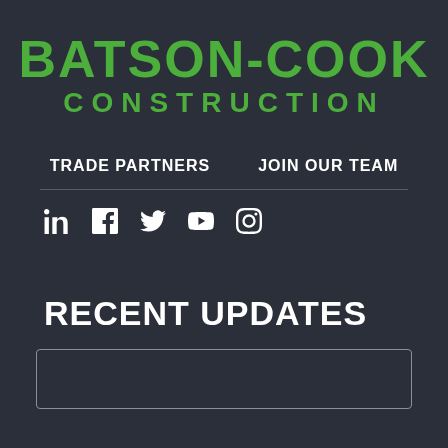BATSON-COOK CONSTRUCTION
TRADE PARTNERS   JOIN OUR TEAM
[Figure (infographic): Social media icons row: LinkedIn, Facebook, Twitter, YouTube, Instagram]
RECENT UPDATES
[Figure (other): Partial card/box at bottom of page, content cut off]